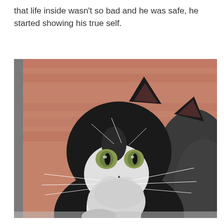that life inside wasn't so bad and he was safe, he started showing his true self.
[Figure (photo): A black and white tuxedo cat with long fluffy fur, green eyes, white whiskers, and a white chest/chin, looking upward slightly. The cat is photographed against a blurred red brick wall background.]